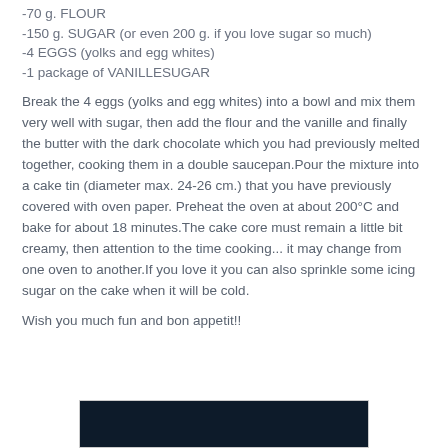-70 g. FLOUR
-150 g. SUGAR (or even 200 g. if you love sugar so much)
-4 EGGS (yolks and egg whites)
-1 package of VANILLESUGAR
Break the 4 eggs (yolks and egg whites) into a bowl and mix them very well with sugar, then add the flour and the vanille and finally the butter with the dark chocolate which you had previously melted together, cooking them in a double saucepan.Pour the mixture into a cake tin (diameter max. 24-26 cm.) that you have previously covered with oven paper. Preheat the oven at about 200°C and bake for about 18 minutes.The cake core must remain a little bit creamy, then attention to the time cooking... it may change from one oven to another.If you love it you can also sprinkle some icing sugar on the cake when it will be cold.
Wish you much fun and bon appetit!!
[Figure (photo): Dark colored photograph of a cake or chocolate baked good, partially visible at the bottom of the page]